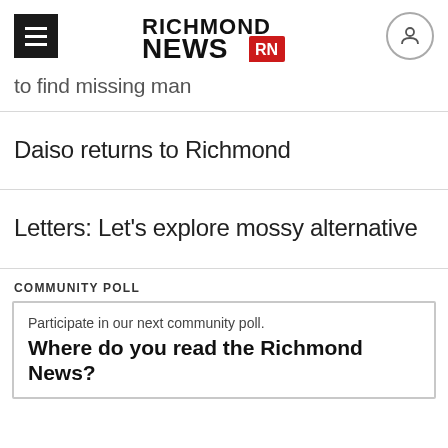Richmond News
to find missing man
Daiso returns to Richmond
Letters: Let's explore mossy alternative
COMMUNITY POLL
Participate in our next community poll. Where do you read the Richmond News?